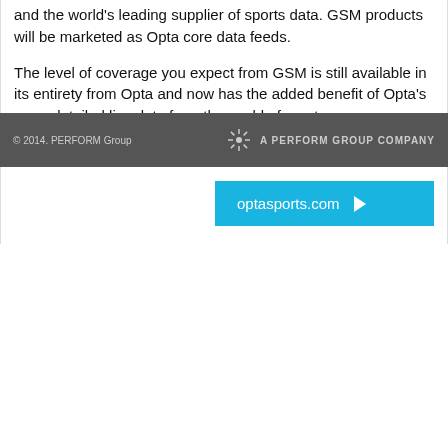and the world's leading supplier of sports data. GSM products will be marketed as Opta core data feeds.
The level of coverage you expect from GSM is still available in its entirety from Opta and now has the added benefit of Opta's more detailed live data from the world of sport.
Click the link to access the Opta Sports website.
[Figure (other): Cyan/blue button with text 'optasports.com' and a right-pointing arrow]
© 2014. PERFORM Group  A PERFORM GROUP COMPANY